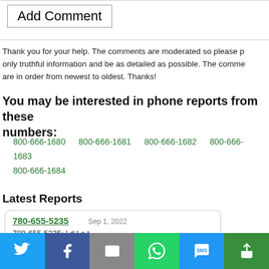Add Comment
Thank you for your help. The comments are moderated so please post only truthful information and be as detailed as possible. The comments are in order from newest to oldest. Thanks!
You may be interested in phone reports from these numbers:
800-666-1680
800-666-1681
800-666-1682
800-666-1683
800-666-1684
Latest Reports
780-655-5235   Sep 1, 2022
780-655-5235: I d I o t
587-988-2609   Sep 1, 2022
587-988-2609: Inquired s o u t h